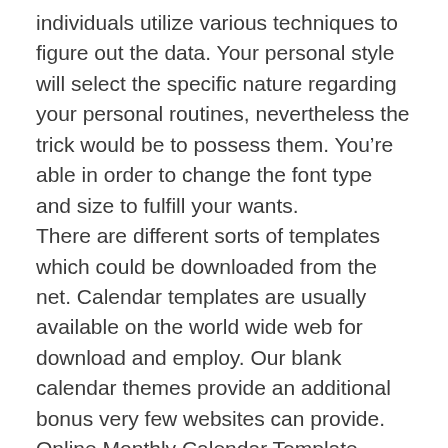individuals utilize various techniques to figure out the data. Your personal style will select the specific nature regarding your personal routines, nevertheless the trick would be to possess them. You’re able in order to change the font type and size to fulfill your wants.
There are different sorts of templates which could be downloaded from the net. Calendar templates are usually available on the world wide web for download and employ. Our blank calendar themes provide an additional bonus very few websites can provide. Online Monthly Calendar Template Down load the blank monthly calendar At the onset of each calendar year, consider the huge picture. Below likely to some